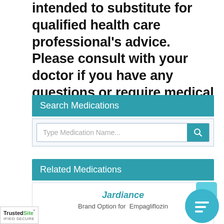intended to substitute for qualified health care professional's advice. Please consult with your doctor if you have any questions or require medical advice.
Search Medications
[Figure (screenshot): Search input box with placeholder text 'Type Medication Name...' and a teal search button with magnifying glass icon]
Related Medications
Jardiance
Brand Option for  Empagliflozin
[Figure (logo): TrustedSite CERTIFIED SECURE badge in bottom left corner]
[Figure (illustration): Teal chat bubble icon in bottom right corner]